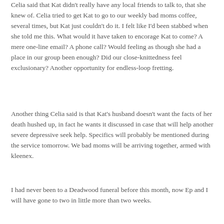Celia said that Kat didn't really have any local friends to talk to, that she knew of. Celia tried to get Kat to go to our weekly bad moms coffee, several times, but Kat just couldn't do it. I felt like I'd been stabbed when she told me this. What would it have taken to encorage Kat to come? A mere one-line email? A phone call? Would feeling as though she had a place in our group been enough? Did our close-knittedness feel exclusionary? Another opportunity for endless-loop fretting.
Another thing Celia said is that Kat's husband doesn't want the facts of her death hushed up, in fact he wants it discussed in case that will help another severe depressive seek help. Specifics will probably be mentioned during the service tomorrow. We bad moms will be arriving together, armed with kleenex.
I had never been to a Deadwood funeral before this month, now Ep and I will have gone to two in little more than two weeks.
I can't stop thinking about Kat, and am dealing by keeping as busy as possible. My duty for familial outright and to...